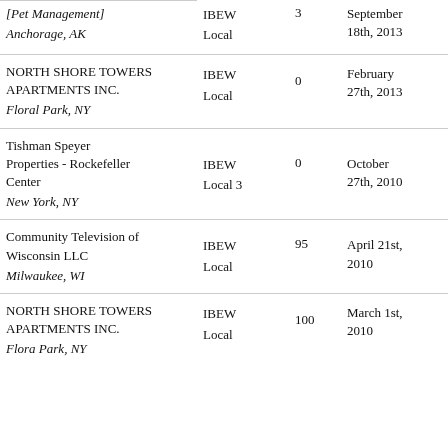| Employer | Union | Employees | Date |
| --- | --- | --- | --- |
| [Pet Management]
Anchorage, AK | IBEW
Local | 3 | September
18th, 2013 |
| NORTH SHORE TOWERS APARTMENTS INC.
Floral Park, NY | IBEW
Local | 0 | February
27th, 2013 |
| Tishman Speyer Properties - Rockefeller Center
New York, NY | IBEW
Local 3 | 0 | October
27th, 2010 |
| Community Television of Wisconsin LLC
Milwaukee, WI | IBEW
Local | 95 | April 21st,
2010 |
| NORTH SHORE TOWERS APARTMENTS INC.
Flora Park, NY | IBEW
Local | 100 | March 1st,
2010 |